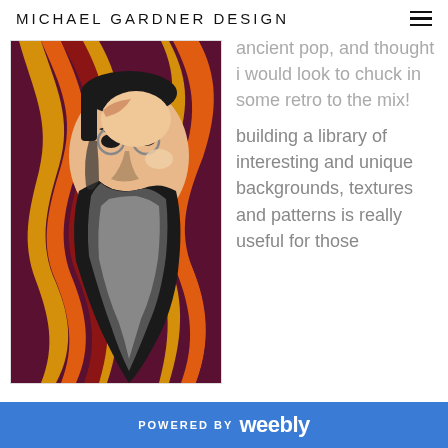MICHAEL GARDNER DESIGN
[Figure (illustration): Pop-art style illustration of a bearded man looking upward, rendered in black, grey, and peach tones, set against a retro 1970s swirling background with dark maroon, orange, red, and gold wavy stripes.]
...ancient pop, and thought i would look to chuck in some retro to the mix!
building a library of interesting and unique backgrounds, textures and patterns is really useful for those
POWERED BY weebly